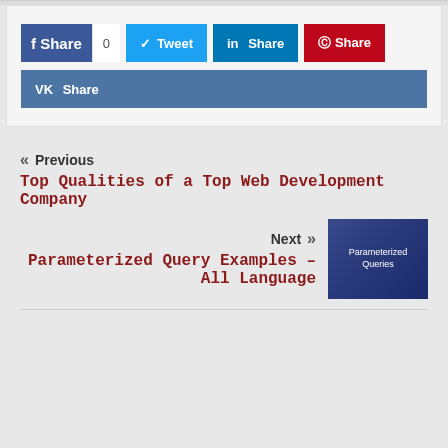[Figure (other): Social share buttons: Facebook Share (count: 0), Tweet, LinkedIn Share, Pinterest Share, VK Share]
« Previous
Top Qualities of a Top Web Development Company
Next »
Parameterized Query Examples – All Language
[Figure (photo): Thumbnail image showing 'Parameterized Queries' text on dark blue background]